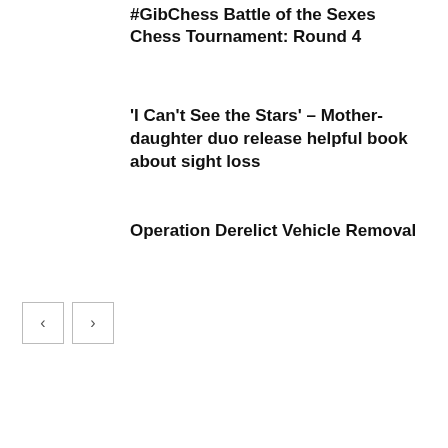#GibChess Battle of the Sexes Chess Tournament: Round 4
'I Can’t See the Stars' – Mother-daughter duo release helpful book about sight loss
Operation Derelict Vehicle Removal
[Figure (other): Navigation buttons: left arrow and right arrow for pagination]